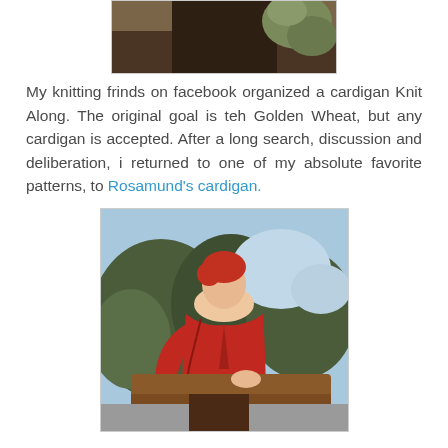[Figure (photo): Top partial photo showing dark background with foliage/plant]
My knitting frinds on facebook organized a cardigan Knit Along. The original goal is teh Golden Wheat, but any cardigan is accepted. After a long search, discussion and deliberation, i returned to one of my absolute favorite patterns, to Rosamund's cardigan.
[Figure (photo): Woman wearing a red knitted cardigan, sitting on a wooden structure outdoors with trees in background]